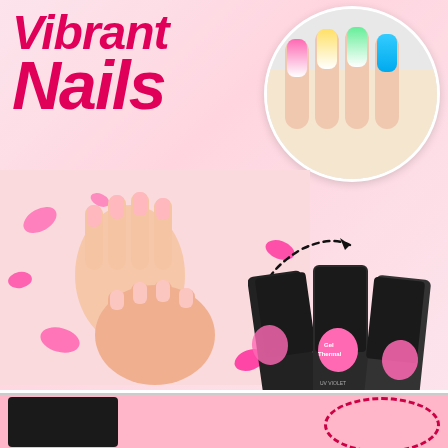Vibrant Nails
[Figure (photo): Circular inset photo of colorful ombre/gradient nail art on fingers — pink, yellow, green, blue gradient nails]
[Figure (photo): Photo of two feminine hands with bare nails on pink background with scattered pink rose petals]
[Figure (photo): Three black tubes of nail gel product labeled 'Gel Thermal' with pink logo, stacked/fanned out]
[Figure (illustration): Dashed curved arrow pointing from hand nails toward the circular nail art inset photo]
[Figure (photo): Bottom strip showing partial view of black product box on left and pink circular item with red dashed border on right]